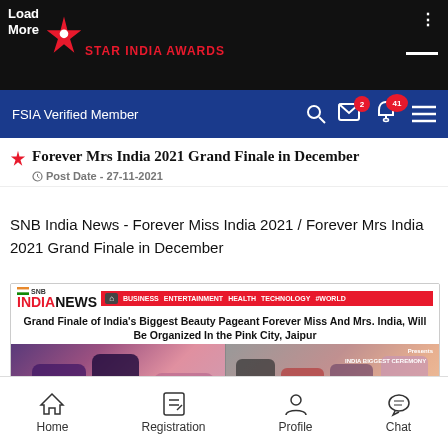Load More | STAR INDIA AWARDS
FSIA Verified Member
Forever Mrs India 2021 Grand Finale in December
Post Date - 27-11-2021
SNB India News - Forever Miss India 2021 / Forever Mrs India 2021 Grand Finale in December
[Figure (screenshot): SNB India News website screenshot showing headline: Grand Finale of India's Biggest Beauty Pageant Forever Miss And Mrs. India, Will Be Organized In the Pink City, Jaipur, with two photos of women in Indian attire]
Jaipur (Rajasthan, India), December 30: The grand finale of Miss and Mrs India is about to be organised from December...
Home   Registration   Profile   Chat